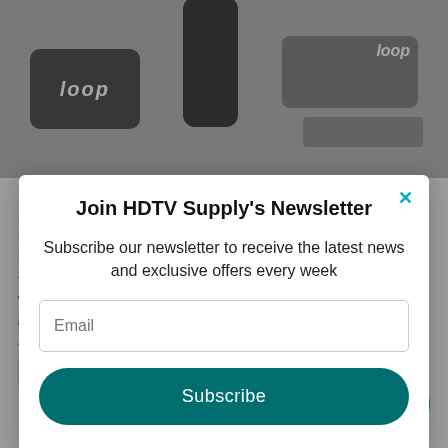[Figure (screenshot): Background showing Loop media player device, remote control, and Loop device side view with product diagram]
your customers can see on the TVs:
Show upcoming events
Show your Menu
Show special beers
Show special wines
Join HDTV Supply's Newsletter
Subscribe our newsletter to receive the latest news and exclusive offers every week
Email
Subscribe